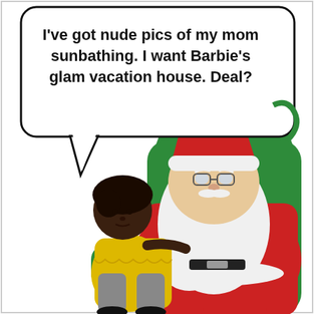[Figure (illustration): A cartoon comic illustration showing a child sitting on Santa Claus's lap. Santa is seated in a large green armchair, wearing his traditional red suit and hat with white trim, and has a white beard and glasses with a stern/surprised expression. The child is a young girl with short dark hair wearing a yellow dress. A speech bubble from the child reads: I've got nude pics of my mom sunbathing. I want Barbie's glam vacation house. Deal?]